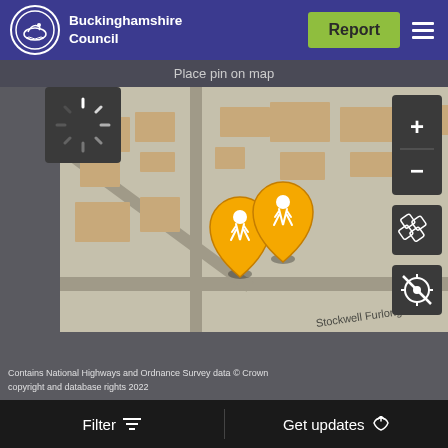Buckinghamshire Council
Place pin on map
[Figure (map): Interactive street map showing Stockwell Furlong area with two orange pedestrian/walking pins, map controls (zoom in/out, layers, location), and a loading spinner. The map shows building footprints and street layout typical of a UK OS-based map.]
Contains National Highways and Ordnance Survey data © Crown copyright and database rights 2022
Filter   Get updates